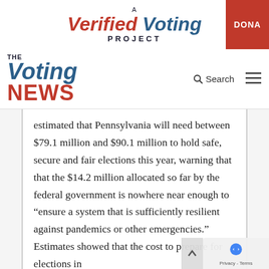[Figure (logo): A Verified Voting Project logo with red 'Verified' and blue italic 'Voting' text, 'PROJECT' in dark caps below, and a red DONATE button on the right]
[Figure (logo): The Voting News logo: 'THE' small, 'Voting' large blue italic, 'NEWS' large red bold]
estimated that Pennsylvania will need between $79.1 million and $90.1 million to hold safe, secure and fair elections this year, warning that that the $14.2 million allocated so far by the federal government is nowhere near enough to “ensure a system that is sufficiently resilient against pandemics or other emergencies.” Estimates showed that the cost to prepare for elections in